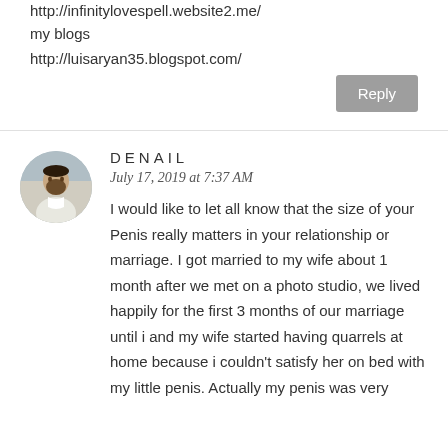http://infinitylovespell.website2.me/
my blogs
http://luisaryan35.blogspot.com/
Reply
DENAIL
July 17, 2019 at 7:37 AM
I would like to let all know that the size of your Penis really matters in your relationship or marriage. I got married to my wife about 1 month after we met on a photo studio, we lived happily for the first 3 months of our marriage until i and my wife started having quarrels at home because i couldn't satisfy her on bed with my little penis. Actually my penis was very